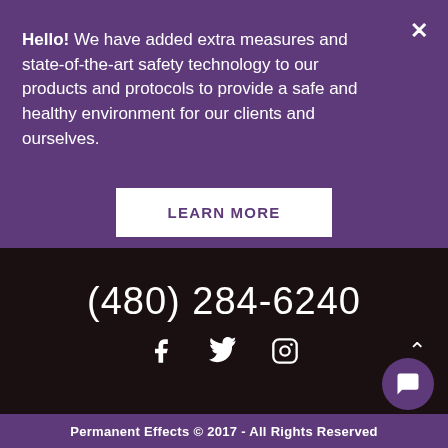Hello! We have added extra measures and state-of-the-art safety technology to our products and protocols to provide a safe and healthy environment for our clients and ourselves.
LEARN MORE
(480) 284-6240
[Figure (infographic): Social media icons: Facebook, Twitter, Instagram]
Permanent Effects © 2017 - All Rights Reserved